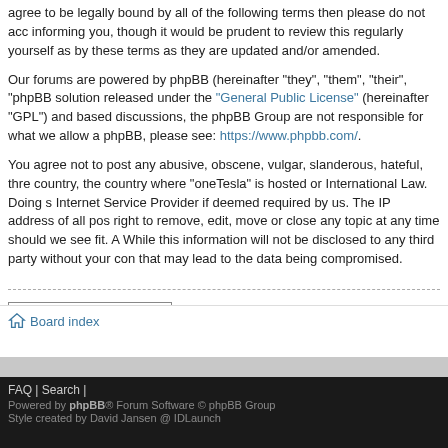agree to be legally bound by all of the following terms then please do not acc... informing you, though it would be prudent to review this regularly yourself as... by these terms as they are updated and/or amended.
Our forums are powered by phpBB (hereinafter "they", "them", "their", "phpBB... solution released under the "General Public License" (hereinafter "GPL") and... based discussions, the phpBB Group are not responsible for what we allow a... phpBB, please see: https://www.phpbb.com/.
You agree not to post any abusive, obscene, vulgar, slanderous, hateful, thre... country, the country where "oneTesla" is hosted or International Law. Doing s... Internet Service Provider if deemed required by us. The IP address of all pos... right to remove, edit, move or close any topic at any time should we see fit. A... While this information will not be disclosed to any third party without your con... that may lead to the data being compromised.
[Figure (other): Back to login screen button]
Board index
FAQ | Search | Powered by phpBB® Forum Software © phpBB Group Style created by David Jansen @ IDLaunch